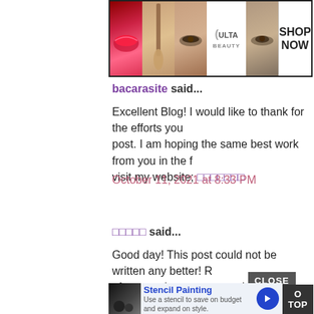[Figure (photo): Ulta Beauty advertisement banner showing makeup images (lips, brush, eye, logo, eye) and SHOP NOW text]
bacarasite said...
Excellent Blog! I would like to thank for the efforts you have put in writing this post. I am hoping the same best work from you in the future as well. I wanted to visit my website; 바카라사이트
October 11, 2021 at 8:33 PM
바카라사이트 said...
Good day! This post could not be written any better! Reading this post reminds me of my previous room mate! He always kept chatting about this. I will forward this page to him. Pretty sure he will have a good read. Thank you for sharing!
October 12, 2021 at 9:45 PM
[Figure (infographic): Bottom advertisement for Stencil Painting with thumbnail image and blue arrow button]
CLOSE
O TOP